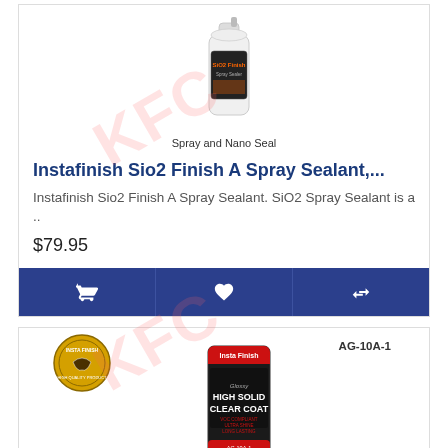[Figure (photo): Product image of Instafinish Sio2 Finish A Spray Sealant bottle with 'Spray and Nano Seal' label below]
Instafinish Sio2 Finish A Spray Sealant,...
Instafinish Sio2 Finish A Spray Sealant. SiO2 Spray Sealant is a ..
$79.95
[Figure (photo): Product image of Scratch resistance Shiraz istafinish 2.1 HIGH SOLID CLEAR COAT with badge and AG-10A-1 label. Caption: HIGH SOLID Scratch Resistance Clear]
Scratch resistance Shiraz istafinish 2.1...
Scratch resistance Shiraz istafinish 2.1 VOC XHS Clear Coat